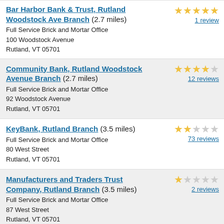Bar Harbor Bank & Trust, Rutland Woodstock Ave Branch (2.7 miles)
Full Service Brick and Mortar Office
100 Woodstock Avenue
Rutland, VT 05701
5 stars – 1 review
Community Bank, Rutland Woodstock Avenue Branch (2.7 miles)
Full Service Brick and Mortar Office
92 Woodstock Avenue
Rutland, VT 05701
3.5 stars – 12 reviews
KeyBank, Rutland Branch (3.5 miles)
Full Service Brick and Mortar Office
80 West Street
Rutland, VT 05701
2 stars – 73 reviews
Manufacturers and Traders Trust Company, Rutland Branch (3.5 miles)
Full Service Brick and Mortar Office
87 West Street
Rutland, VT 05701
1 star – 2 reviews
Citizens Bank, Rutland (3.6 miles)
Full Service Brick and Mortar Office